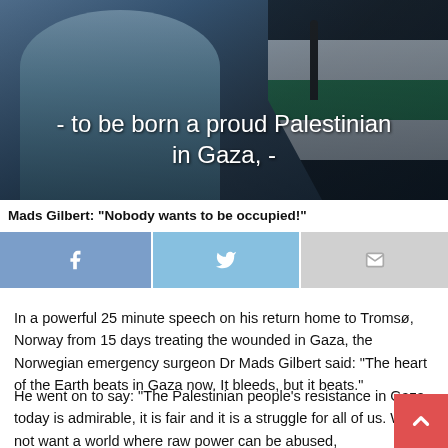[Figure (photo): A man speaking at a microphone outdoors with a Palestinian flag visible in the background. Text overlay reads: '- to be born a proud Palestinian in Gaza, -']
Mads Gilbert: "Nobody wants to be occupied!"
[Figure (infographic): Social sharing buttons: Facebook (blue), Twitter (light blue), Email (grey)]
In a powerful 25 minute speech on his return home to Tromsø, Norway from 15 days treating the wounded in Gaza, the Norwegian emergency surgeon Dr Mads Gilbert said: “The heart of the Earth beats in Gaza now. It bleeds, but it beats.”
He went on to say: “The Palestinian people’s resistance in Gaza today is admirable, it is fair and it is a struggle for all of us. We do not want a world where raw power can be abused,